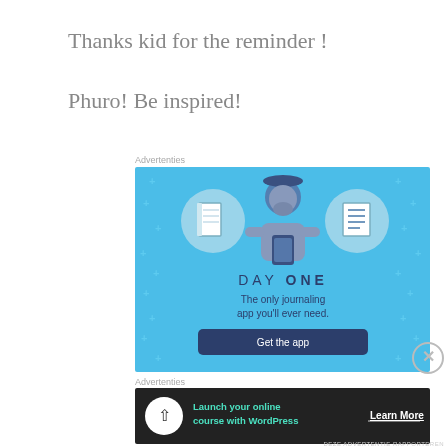Thanks kid for the reminder !
Phuro! Be inspired!
Advertenties
[Figure (illustration): Day One journaling app advertisement banner with blue background. Shows a cartoon figure holding a phone, flanked by two circular icons (notebook and lined document). Text reads DAY ONE with tagline 'The only journaling app you'll ever need.' and a 'Get the app' button.]
Advertenties
[Figure (illustration): Black banner advertisement for WordPress online course. Shows a white circle icon with a figure/arrow, teal text 'Launch your online course with WordPress', and white 'Learn More' button with underline.]